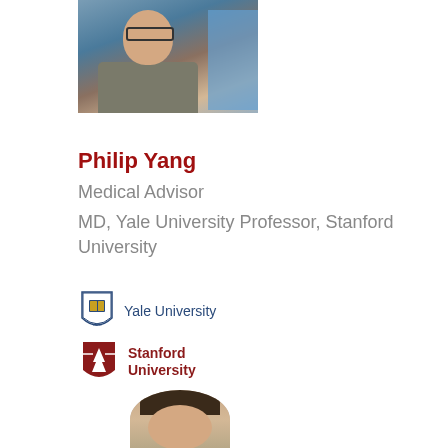[Figure (photo): Headshot photo of Philip Yang, a man wearing glasses and a suit, speaking at a conference with blue backdrop text visible]
Philip Yang
Medical Advisor
MD, Yale University Professor, Stanford University
[Figure (logo): Yale University logo with shield crest and text 'Yale University']
[Figure (logo): Stanford University logo with tree/shield crest and text 'Stanford University']
[Figure (photo): Partial headshot of another person visible at bottom of page, showing top of head with dark hair]